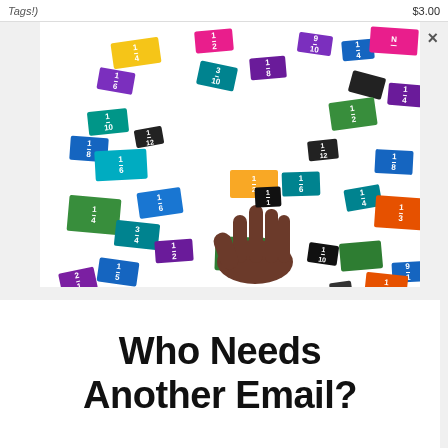Tags!) $3.00
[Figure (photo): A child's hand picking up a small black fraction tile from a scattered arrangement of colorful fraction tiles on a white background. The tiles show various fractions (1/2, 1/3, 1/4, 1/6, 1/8, 1/10, 1/12) in colors including blue, green, orange, purple, teal, yellow, pink, and black.]
Who Needs Another Email?